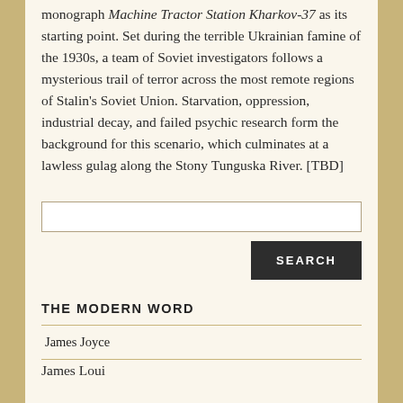monograph Machine Tractor Station Kharkov-37 as its starting point. Set during the terrible Ukrainian famine of the 1930s, a team of Soviet investigators follows a mysterious trail of terror across the most remote regions of Stalin's Soviet Union. Starvation, oppression, industrial decay, and failed psychic research form the background for this scenario, which culminates at a lawless gulag along the Stony Tunguska River. [TBD]
[Figure (screenshot): Search input box (empty text field)]
[Figure (screenshot): SEARCH button (dark background, white uppercase text)]
THE MODERN WORD
James Joyce
James Louis D...